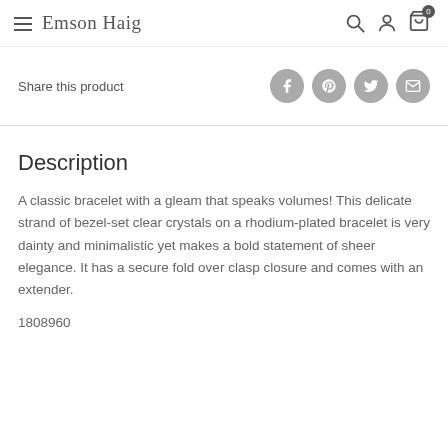Emson Haig — navigation header with hamburger menu, logo, search, account, and cart (0) icons
Share this product
Description
A classic bracelet with a gleam that speaks volumes! This delicate strand of bezel-set clear crystals on a rhodium-plated bracelet is very dainty and minimalistic yet makes a bold statement of sheer elegance. It has a secure fold over clasp closure and comes with an extender.
1808960